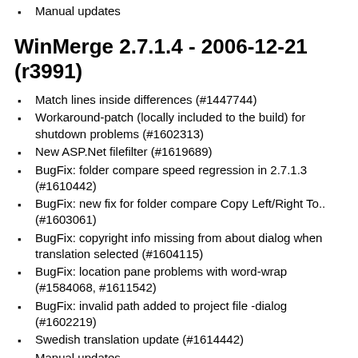Manual updates
WinMerge 2.7.1.4 - 2006-12-21 (r3991)
Match lines inside differences (#1447744)
Workaround-patch (locally included to the build) for shutdown problems (#1602313)
New ASP.Net filefilter (#1619689)
BugFix: folder compare speed regression in 2.7.1.3 (#1610442)
BugFix: new fix for folder compare Copy Left/Right To.. (#1603061)
BugFix: copyright info missing from about dialog when translation selected (#1604115)
BugFix: location pane problems with word-wrap (#1584068, #1611542)
BugFix: invalid path added to project file -dialog (#1602219)
Swedish translation update (#1614442)
Manual updates
WinMerge 2.7.1.3 - 2006-12-05 (r3919)
Now hides skipped items by default (#1604078)